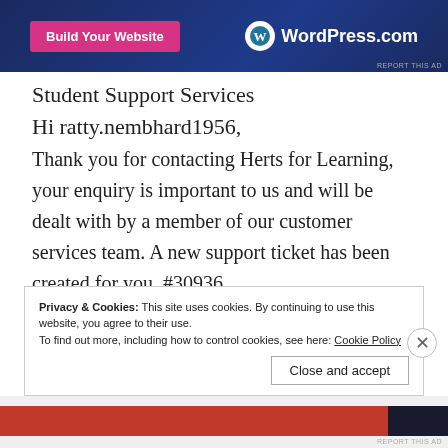[Figure (screenshot): WordPress.com advertisement banner with pink 'Build Your Website' button and WordPress logo on dark blue background]
Student Support Services
Hi ratty.nembhard1956,
Thank you for contacting Herts for Learning, your enquiry is important to us and will be dealt with by a member of our customer services team. A new support ticket has been created for you, #30936
Privacy & Cookies: This site uses cookies. By continuing to use this website, you agree to their use. To find out more, including how to control cookies, see here: Cookie Policy
[Figure (screenshot): Bottom advertisement bar with red and dark colored strips]